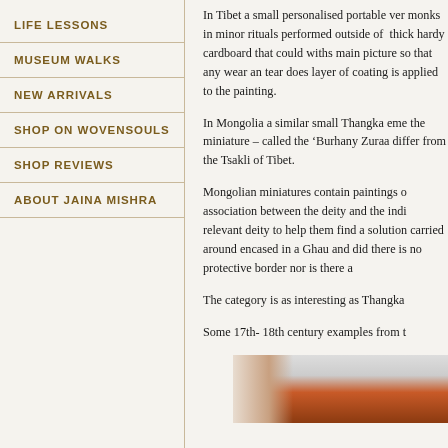LIFE LESSONS
MUSEUM WALKS
NEW ARRIVALS
SHOP ON WOVENSOULS
SHOP REVIEWS
ABOUT JAINA MISHRA
In Tibet a small personalised portable ver monks in minor rituals performed outside of thick hardy cardboard that could withs main picture so that any wear an tear does layer of coating is applied to the painting.
In Mongolia a similar small Thangka eme the miniature – called the 'Burhany Zuraa differ from the Tsakli of Tibet.
Mongolian miniatures contain paintings o association between the deity and the indi relevant deity to help them find a solution carried around encased in a Ghau and did there is no protective border nor is there a
The category is as interesting as Thangka
Some 17th- 18th century examples from t
[Figure (photo): Partial image of stacked antique Thangka scrolls or painted panels visible at bottom of page]